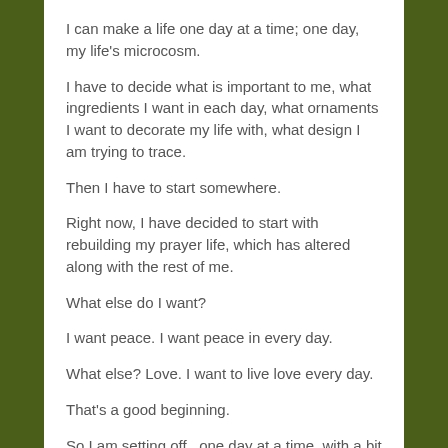I can make a life one day at a time; one day, my life’s microcosm.
I have to decide what is important to me, what ingredients I want in each day, what ornaments I want to decorate my life with, what design I am trying to trace.
Then I have to start somewhere.
Right now, I have decided to start with rebuilding my prayer life, which has altered along with the rest of me.
What else do I want?
I want peace. I want peace in every day.
What else? Love. I want to live love every day.
That’s a good beginning.
So I am setting off , one day at a time, with a bit of holy self determination, to adorn my days with prayer, with peace, with love and with life.